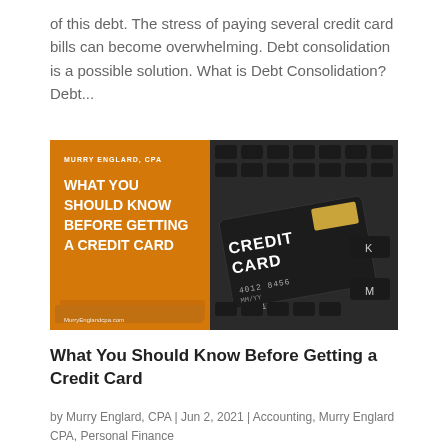of this debt. The stress of paying several credit card bills can become overwhelming. Debt consolidation is a possible solution. What is Debt Consolidation? Debt...
[Figure (photo): Blog post thumbnail image split into two halves: left half has an orange background with text 'MURRY ENGLARD, CPA' at top and bold white text 'WHAT YOU SHOULD KNOW BEFORE GETTING A CREDIT CARD' below, with MurryEnglandcpa.com at bottom; right half shows a dark credit card labeled 'CREDIT CARD' resting on a laptop keyboard.]
What You Should Know Before Getting a Credit Card
by Murry Englard, CPA | Jun 2, 2021 | Accounting, Murry Englard CPA, Personal Finance